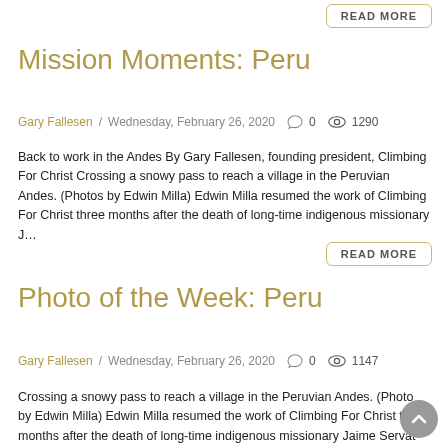READ MORE
Mission Moments: Peru
Gary Fallesen / Wednesday, February 26, 2020   0   1290
Back to work in the Andes By Gary Fallesen, founding president, Climbing For Christ Crossing a snowy pass to reach a village in the Peruvian Andes. (Photos by Edwin Milla) Edwin Milla resumed the work of Climbing For Christ three months after the death of long-time indigenous missionary J…
READ MORE
Photo of the Week: Peru
Gary Fallesen / Wednesday, February 26, 2020   0   1147
Crossing a snowy pass to reach a village in the Peruvian Andes. (Photo by Edwin Milla) Edwin Milla resumed the work of Climbing For Christ three months after the death of long-time indigenous missionary Jaime Servat and one month after he'd accepted the call to follow in his friend Jaime…